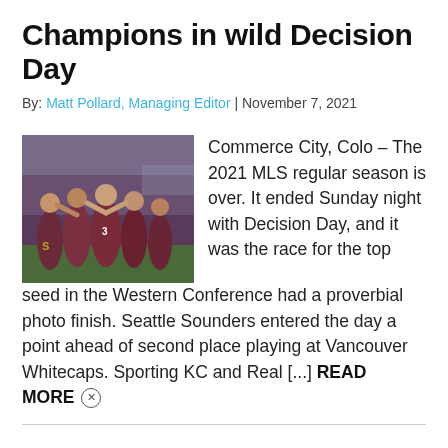Champions in wild Decision Day
By: Matt Pollard, Managing Editor | November 7, 2021
[Figure (photo): Soccer players in dark maroon jerseys celebrating on the field, crowd visible in background]
Commerce City, Colo – The 2021 MLS regular season is over. It ended Sunday night with Decision Day, and it was the race for the top seed in the Western Conference had a proverbial photo finish. Seattle Sounders entered the day a point ahead of second place playing at Vancouver Whitecaps. Sporting KC and Real [...] READ MORE